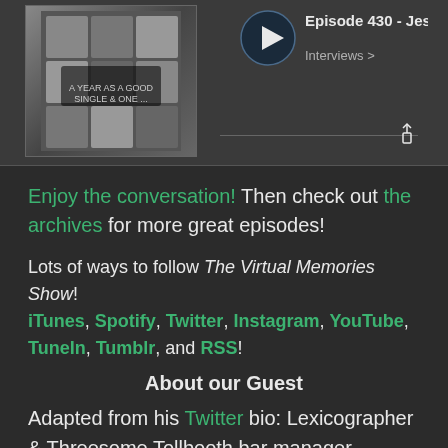[Figure (screenshot): Podcast episode player screenshot showing Episode 430 - Jesse Sheid with thumbnail image, play button, Interviews link, and share icon]
Enjoy the conversation! Then check out the archives for more great episodes!
Lots of ways to follow The Virtual Memories Show! iTunes, Spotify, Twitter, Instagram, YouTube, TuneIn, Tumblr, and RSS!
About our Guest
Adapted from his Twitter bio: Lexicographer & Threesome Tollbooth bar manager. Editor/coder, SFdictionary.com. Adjunct at Columbia. Past Pres, Amer.